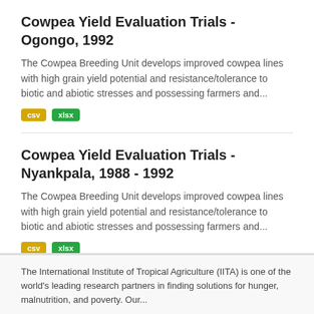Cowpea Yield Evaluation Trials - Ogongo, 1992
The Cowpea Breeding Unit develops improved cowpea lines with high grain yield potential and resistance/tolerance to biotic and abiotic stresses and possessing farmers and...
csv  xlsx
Cowpea Yield Evaluation Trials - Nyankpala, 1988 - 1992
The Cowpea Breeding Unit develops improved cowpea lines with high grain yield potential and resistance/tolerance to biotic and abiotic stresses and possessing farmers and...
csv  xlsx
1  2  3  »
The International Institute of Tropical Agriculture (IITA) is one of the world's leading research partners in finding solutions for hunger, malnutrition, and poverty. Our...